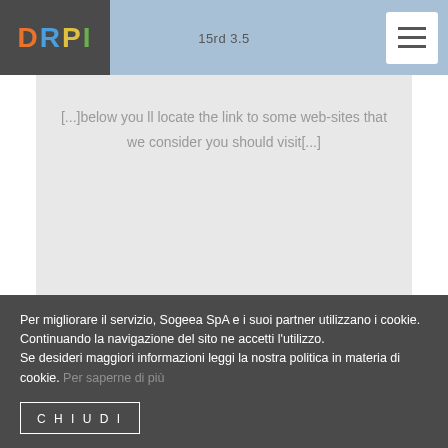15rd 3.5
[Figure (logo): DRPI logo with colorful letters on dark grey background]
[...]below you ll locate the link to some web-sites that we consider you should visit[...]
Reply
Per migliorare il servizio, Sogeea SpA e i suoi partner utilizzano i cookie. Continuando la navigazione del sito ne accetti l'utilizzo.
Se desideri maggiori informazioni leggi la nostra politica in materia di cookie. Per saperne di più
CHIUDI